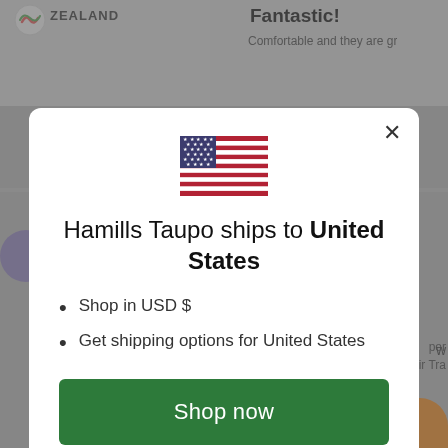[Figure (screenshot): Background webpage showing New Zealand site with Fantastic! review text and partial navigation]
Hamills Taupo ships to United States
Shop in USD $
Get shipping options for United States
Shop now
Change shipping country
Hamills Club